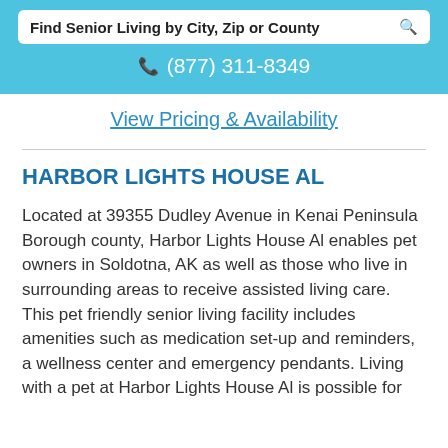Find Senior Living by City, Zip or County
(877) 311-8349
View Pricing & Availability
HARBOR LIGHTS HOUSE AL
Located at 39355 Dudley Avenue in Kenai Peninsula Borough county, Harbor Lights House Al enables pet owners in Soldotna, AK as well as those who live in surrounding areas to receive assisted living care. This pet friendly senior living facility includes amenities such as medication set-up and reminders, a wellness center and emergency pendants. Living with a pet at Harbor Lights House Al is possible for...